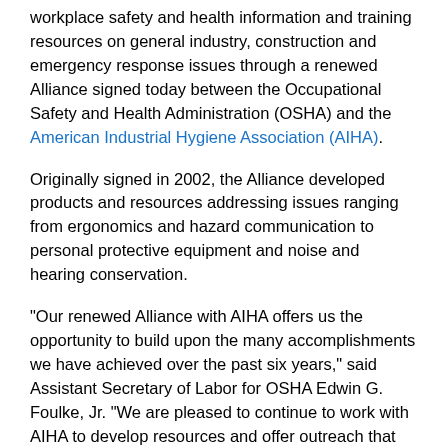workplace safety and health information and training resources on general industry, construction and emergency response issues through a renewed Alliance signed today between the Occupational Safety and Health Administration (OSHA) and the American Industrial Hygiene Association (AIHA).
Originally signed in 2002, the Alliance developed products and resources addressing issues ranging from ergonomics and hazard communication to personal protective equipment and noise and hearing conservation.
"Our renewed Alliance with AIHA offers us the opportunity to build upon the many accomplishments we have achieved over the past six years," said Assistant Secretary of Labor for OSHA Edwin G. Foulke, Jr. "We are pleased to continue to work with AIHA to develop resources and offer outreach that will help provide safe and healthful workplaces for employees."
Through the Alliance, AIHA has developed several compliance assistance products, including five AIHA QuickTips sheets that provide occupational safety and health professionals with at-a-glance information on specific hazards such as noise and laboratory ergonomics. Alliance Implementation Team members